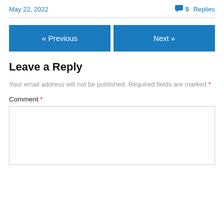May 22, 2022    💬 5 Replies
« Previous    Next »
Leave a Reply
Your email address will not be published. Required fields are marked *
Comment *